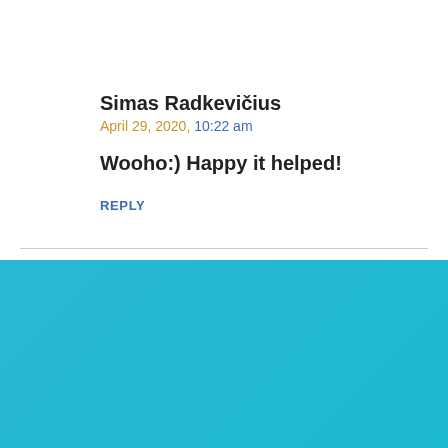[Figure (illustration): Gray default user avatar icon, circular, showing silhouette of a person]
Simas Radkevičius
April 29, 2020, 10:22 am
Wooho:) Happy it helped!
REPLY
Become a Better Hiker With Our Free Email Course!
You will also be subscribed to receive our weekly hiking tips and monthly newsletter.
Email
START HIKING